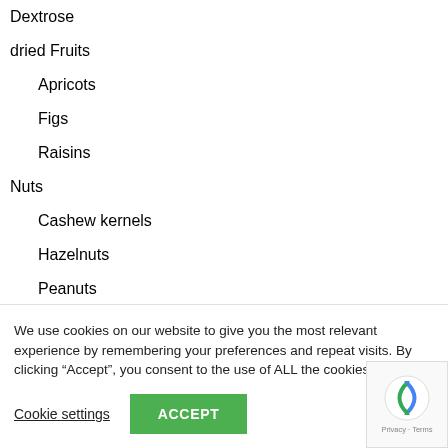Dextrose
dried Fruits
Apricots
Figs
Raisins
Nuts
Cashew kernels
Hazelnuts
Peanuts
Pulses
We use cookies on our website to give you the most relevant experience by remembering your preferences and repeat visits. By clicking “Accept”, you consent to the use of ALL the cookies.
Cookie settings
ACCEPT